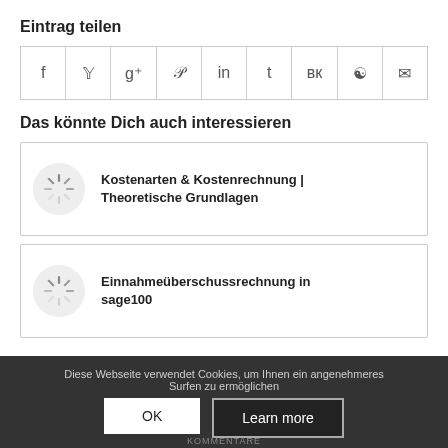Eintrag teilen
[Figure (other): Social share buttons row: Facebook, Twitter, Google+, Pinterest, LinkedIn, Tumblr, VK, Reddit, Email]
Das könnte Dich auch interessieren
[Figure (other): Related article card with loading spinner icon and title: Kostenarten & Kostenrechnung | Theoretische Grundlagen]
[Figure (other): Related article card with loading spinner icon and title: Einnahmeüberschussrechnung in sage100]
Diese Webseite verwendet Cookies, um Ihnen ein angenehmeres Surfen zu ermöglichen
OK
Learn more